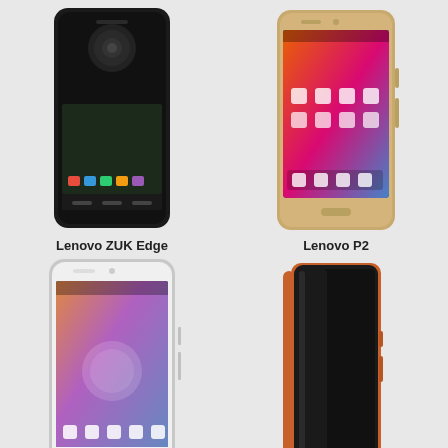[Figure (photo): Lenovo ZUK Edge smartphone front view, dark/black color]
Lenovo ZUK Edge
[Figure (photo): Lenovo P2 smartphone front view, gold color with colorful screen]
Lenovo P2
[Figure (photo): Lenovo K6 Note smartphone front view, white/silver color with colorful screen]
Lenovo K6 Note
[Figure (photo): Lenovo Vibe A smartphone, dark body with orange/copper frame, side/angled view]
Lenovo Vibe A
[Figure (photo): Lenovo smartphone front view, gold/champagne color, partially cut off at bottom]
[Figure (photo): Lenovo smartphone front view, gold color showing 10:08 time on screen, partially cut off at bottom]